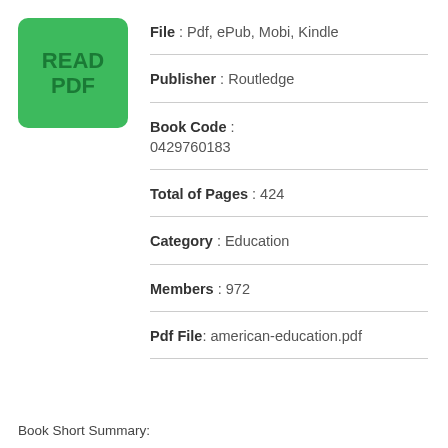[Figure (logo): Green rounded rectangle button with text READ PDF in dark green letters]
File : Pdf, ePub, Mobi, Kindle
Publisher : Routledge
Book Code : 0429760183
Total of Pages : 424
Category : Education
Members : 972
Pdf File: american-education.pdf
Book Short Summary: